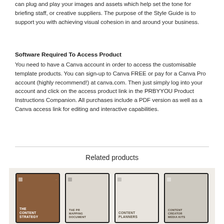can plug and play your images and assets which help set the tone for briefing staff, or creative suppliers. The purpose of the Style Guide is to support you with achieving visual cohesion in and around your business.
Software Required To Access Product
You need to have a Canva account in order to access the customisable template products. You can sign-up to Canva FREE or pay for a Canva Pro account (highly recommend!) at canva.com. Then just simply log into your account and click on the access product link in the PRBYYOU Product Instructions Companion. All purchases include a PDF version as well as a Canva access link for editing and interactive capabilities.
Related products
[Figure (illustration): Four product cards showing tablet mockups: 'The Content Strategy' (brown background), 'The PR Mapping Document' (light gray), 'Content Planners' (light beige), and 'Content Creator Media Kits' (gray)]